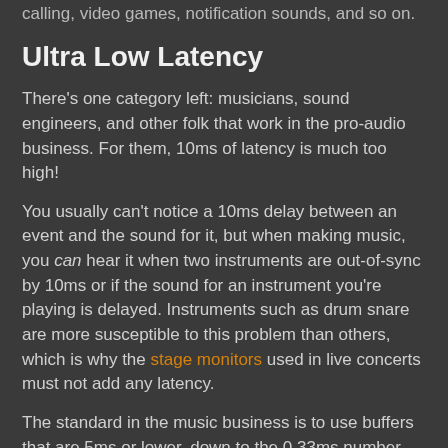calling, video games, notification sounds, and so on.
Ultra Low Latency
There's one category left: musicians, sound engineers, and other folk that work in the pro-audio business. For them, 10ms of latency is much too high!
You usually can't notice a 10ms delay between an event and the sound for it, but when making music, you can hear it when two instruments are out-of-sync by 10ms or if the sound for an instrument you're playing is delayed. Instruments such as drum snare are more susceptible to this problem than others, which is why the stage monitors used in live concerts must not add any latency.
The standard in the music business is to use buffers that are 5ms or lower, down to the 0.33ms number that we talked about above.
Power consumption is absolutely no concern, and the real problems are the accumulation of small amounts of latencies